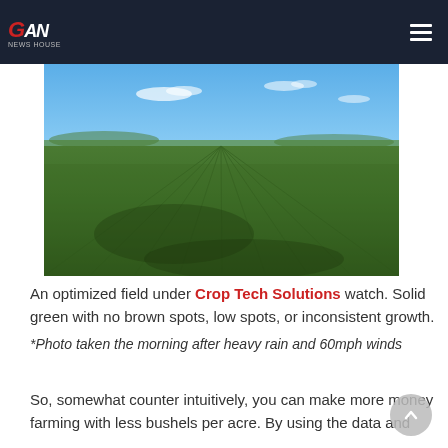GAN (logo)
[Figure (photo): A wide green crop field stretching to the horizon under a blue sky with light clouds. The field shows dense, uniform green crops with visible row lines converging in the distance.]
An optimized field under Crop Tech Solutions watch. Solid green with no brown spots, low spots, or inconsistent growth. *Photo taken the morning after heavy rain and 60mph winds
So, somewhat counter intuitively, you can make more money farming with less bushels per acre. By using the data and